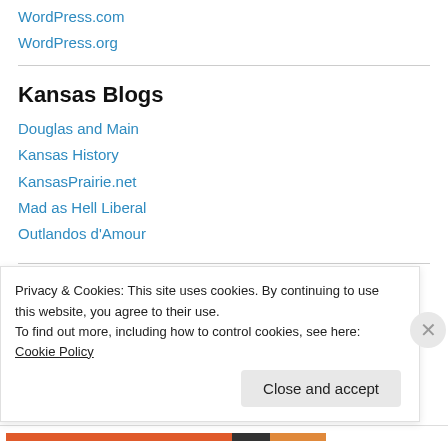WordPress.com
WordPress.org
Kansas Blogs
Douglas and Main
Kansas History
KansasPrairie.net
Mad as Hell Liberal
Outlandos d'Amour
Archives
Privacy & Cookies: This site uses cookies. By continuing to use this website, you agree to their use.
To find out more, including how to control cookies, see here: Cookie Policy
Close and accept